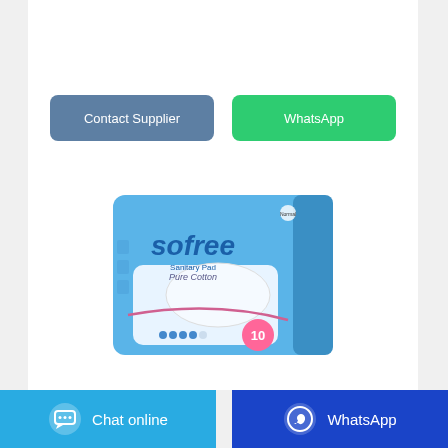has been created to ensure the quality of the products.
[Figure (other): Two call-to-action buttons: 'Contact Supplier' (blue-grey) and 'WhatsApp' (green)]
[Figure (photo): Product photo of Sofree Sanitary Pad Pure Cotton package, blue packaging, count of 10 pads]
[Figure (other): Footer bar with 'Chat online' button (light blue with chat bubble icon) on the left and 'WhatsApp' button (dark blue with WhatsApp icon) on the right]